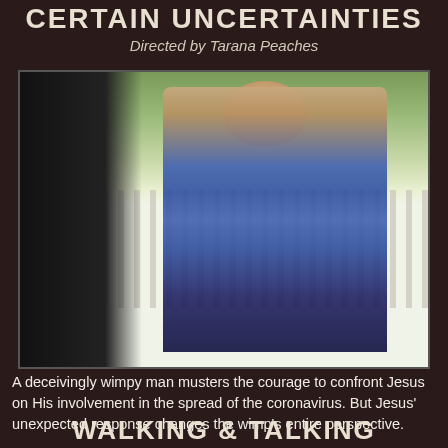CERTAIN UNCERTAINTIES
Directed by Tarana Peaches
[Figure (photo): A man in a blue plaid shirt smiling outdoors, with a white picket fence and trees in the background. A dark-clothed figure is partially visible on the left.]
A deceivingly wimpy man musters the courage to confront Jesus on His involvement in the spread of the coronavirus. But Jesus' unexpected response changes the wimp's entire perspective.
WALKING & TALKING